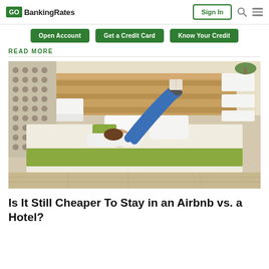GOBankingRates | Sign In
Open Account | Get a Credit Card | Know Your Credit
READ MORE
[Figure (photo): Woman lying on a hotel bed reading a book with her legs raised against a wooden headboard, in a modern hotel room with green accents]
Is It Still Cheaper To Stay in an Airbnb vs. a Hotel?